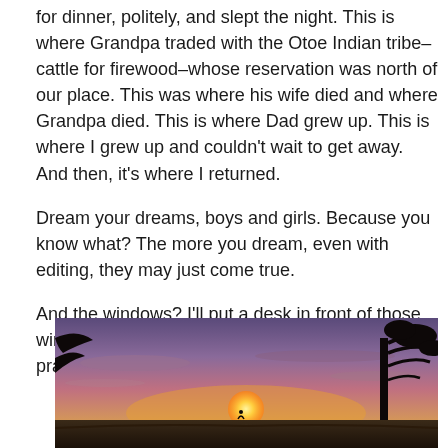for dinner, politely, and slept the night. This is where Grandpa traded with the Otoe Indian tribe–cattle for firewood–whose reservation was north of our place. This was where his wife died and where Grandpa died. This is where Dad grew up. This is where I grew up and couldn't wait to get away. And then, it's where I returned.
Dream your dreams, boys and girls. Because you know what? The more you dream, even with editing, they may just come true.
And the windows? I'll put a desk in front of those windows and sit there and look. Here is the prairie. This is what dreams are made of.
[Figure (photo): A prairie sunset photograph showing a wide horizon with a large setting sun, silhouetted trees on the right side, and a dramatic sky with purple and pink hues.]